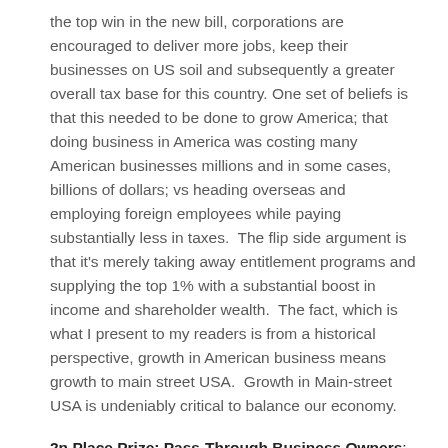the top win in the new bill, corporations are encouraged to deliver more jobs, keep their businesses on US soil and subsequently a greater overall tax base for this country. One set of beliefs is that this needed to be done to grow America; that doing business in America was costing many American businesses millions and in some cases, billions of dollars; vs heading overseas and employing foreign employees while paying substantially less in taxes.  The flip side argument is that it's merely taking away entitlement programs and supplying the top 1% with a substantial boost in income and shareholder wealth.  The fact, which is what I present to my readers is from a historical perspective, growth in American business means growth to main street USA.  Growth in Main-street USA is undeniably critical to balance our economy.
2n Place Prize: Pass-Through Business Owners: